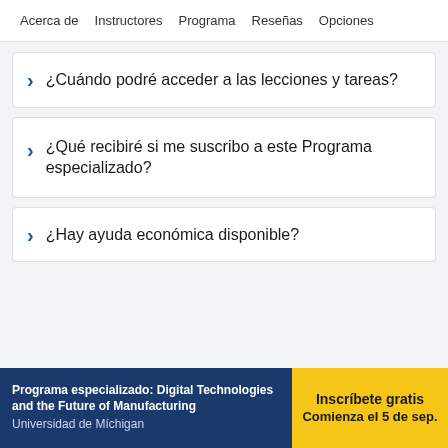Acerca de   Instructores   Programa   Reseñas   Opciones
¿Cuándo podré acceder a las lecciones y tareas?
¿Qué recibiré si me suscribo a este Programa especializado?
¿Hay ayuda económica disponible?
Programa especializado: Digital Technologies and the Future of Manufacturing
Universidad de Michigan
Inscríbete gratis
Comienza el 5 de sep.